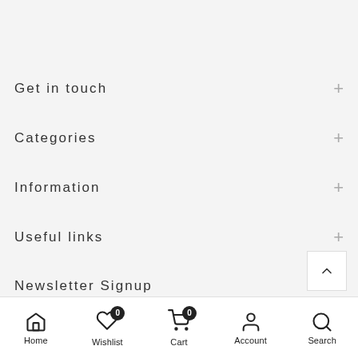Get in touch
Categories
Information
Useful links
Newsletter Signup
Home  Wishlist 0  Cart 0  Account  Search